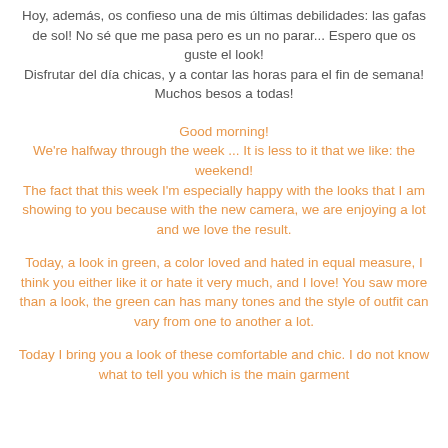Hoy, además, os confieso una de mis últimas debilidades: las gafas de sol! No sé que me pasa pero es un no parar... Espero que os guste el look! Disfrutar del día chicas, y a contar las horas para el fin de semana! Muchos besos a todas!
Good morning! We're halfway through the week ... It is less to it that we like: the weekend! The fact that this week I'm especially happy with the looks that I am showing to you because with the new camera, we are enjoying a lot and we love the result.
Today, a look in green, a color loved and hated in equal measure, I think you either like it or hate it very much, and I love! You saw more than a look, the green can has many tones and the style of outfit can vary from one to another a lot.
Today I bring you a look of these comfortable and chic. I do not know what to tell you which is the main garment